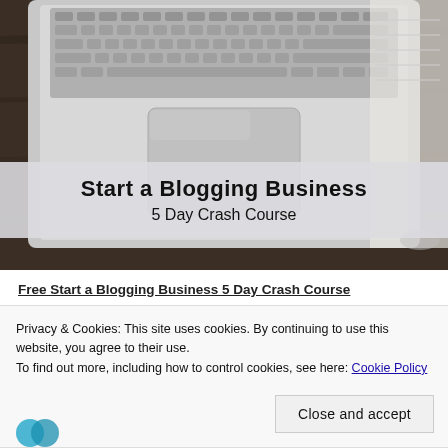[Figure (photo): Photo of a MacBook laptop on a dark wooden desk, viewed from above showing the keyboard and trackpad]
Start a Blogging Business
5 Day Crash Course
Free Start a Blogging Business 5 Day Crash Course
Privacy & Cookies: This site uses cookies. By continuing to use this website, you agree to their use.
To find out more, including how to control cookies, see here: Cookie Policy
Close and accept